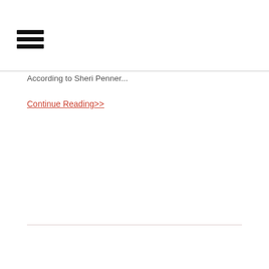[Figure (other): Hamburger menu icon with three horizontal black bars]
According to Sheri Penner...
Continue Reading>>